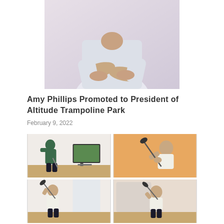[Figure (photo): Person with arms crossed wearing a white/light grey long-sleeve top, partial torso and lower face visible, light background]
Amy Phillips Promoted to President of Altitude Trampoline Park
February 9, 2022
[Figure (photo): Grid of four photos: top-left shows a person practicing golf indoors with a TV display, top-right shows a person holding a golf club on orange background, bottom-left shows a person swinging indoors, bottom-right shows a person swinging with back turned]